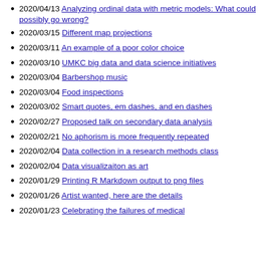2020/04/13 Analyzing ordinal data with metric models: What could possibly go wrong?
2020/03/15 Different map projections
2020/03/11 An example of a poor color choice
2020/03/10 UMKC big data and data science initiatives
2020/03/04 Barbershop music
2020/03/04 Food inspections
2020/03/02 Smart quotes, em dashes, and en dashes
2020/02/27 Proposed talk on secondary data analysis
2020/02/21 No aphorism is more frequently repeated
2020/02/04 Data collection in a research methods class
2020/02/04 Data visualizaiton as art
2020/01/29 Printing R Markdown output to png files
2020/01/26 Artist wanted, here are the details
2020/01/23 Celebrating the failures of medical